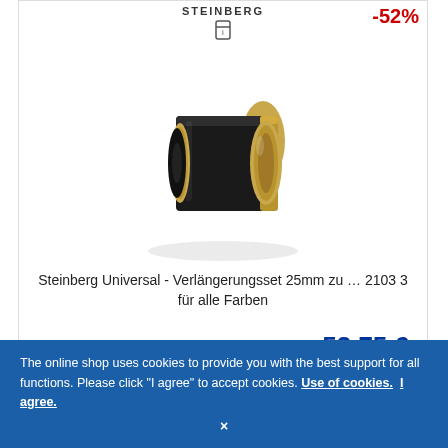STEINBERG
-52%
[Figure (photo): Product photo of a cylindrical black and gold extension set piece (Steinberg Universal Verlängerungsset 25mm), shown at an angle on white background.]
Steinberg Universal - Verlängerungsset 25mm zu … 2103 3 für alle Farben
114,01 €*
53,75 €
The online shop uses cookies to provide you with the best support for all functions. Please click "I agree" to accept cookies. Use of cookies.  I agree.